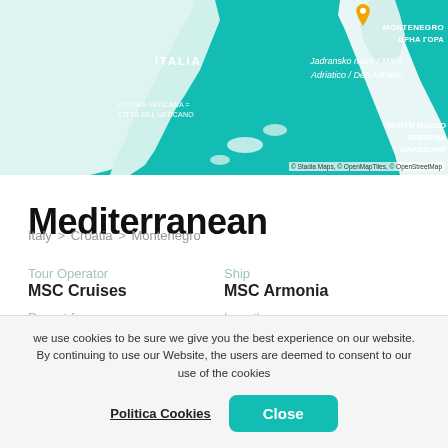[Figure (map): Mediterranean map showing Italy, Adriatic Sea, Montenegro, North Macedonia, with teal/turquoise water and white land masses. A yellow location pin marks Montenegro coast. Attribution: © Stadia Maps, © OpenMapTiles, © OpenStreetMap]
Mediterranean
Italy > Croatia > Montenegro
Tour Operator
MSC Cruises

Ship
MSC Armonia

Depart from
Venice

Length
4 Nights

Departure Date
Arrival Date
we use cookies to be sure we give you the best experience on our website. By continuing to use our Website, the users are deemed to consent to our use of the cookies
Politica Cookies   Close